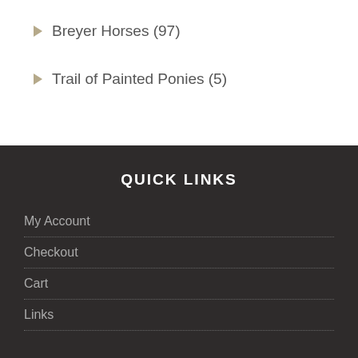Breyer Horses (97)
Trail of Painted Ponies (5)
QUICK LINKS
My Account
Checkout
Cart
Links